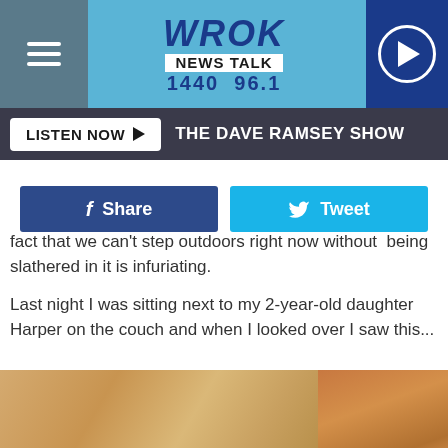WROK NEWS TALK 1440 96.1
LISTEN NOW ▶   THE DAVE RAMSEY SHOW
f Share    🐦 Tweet
fact that we can't step outdoors right now without  being slathered in it is infuriating.

Last night I was sitting next to my 2-year-old daughter Harper on the couch and when I looked over I saw this...
[Figure (photo): Close-up photo of a blonde child (Harper), the 2-year-old daughter mentioned in the article text, lying or sitting on a couch]